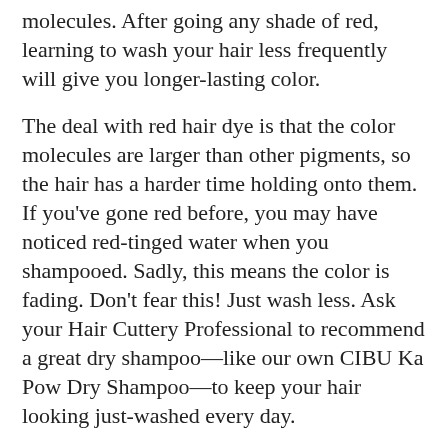molecules. After going any shade of red, learning to wash your hair less frequently will give you longer-lasting color.
The deal with red hair dye is that the color molecules are larger than other pigments, so the hair has a harder time holding onto them. If you've gone red before, you may have noticed red-tinged water when you shampooed. Sadly, this means the color is fading. Don't fear this! Just wash less. Ask your Hair Cuttery Professional to recommend a great dry shampoo—like our own CIBU Ka Pow Dry Shampoo—to keep your hair looking just-washed every day.
As always, don't attempt any chemical services at home. There is a lot of chemistry involved and your Hair Cuttery Professional may be applying multiple formulas to different areas of your hair depending on what they're working with to get the color just...